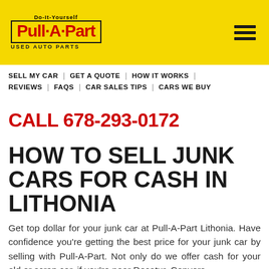[Figure (logo): Pull-A-Part Do-It-Yourself Used Auto Parts logo on yellow banner with hamburger menu icon]
SELL MY CAR | GET A QUOTE | HOW IT WORKS | REVIEWS | FAQS | CAR SALES TIPS | CARS WE BUY
CALL 678-293-0172
HOW TO SELL JUNK CARS FOR CASH IN LITHONIA
Get top dollar for your junk car at Pull-A-Part Lithonia. Have confidence you're getting the best price for your junk car by selling with Pull-A-Part. Not only do we offer cash for your old or scrap car, if you're near Decatur, Conyers,